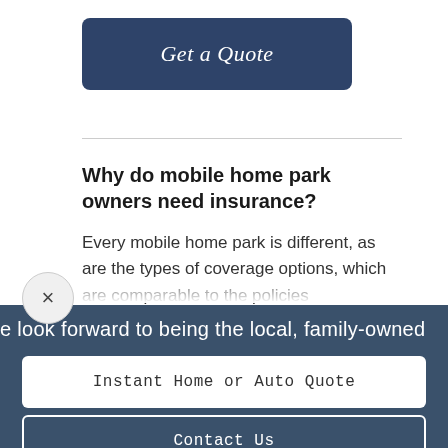[Figure (screenshot): Blue 'Get a Quote' button with rounded corners on white background]
Why do mobile home park owners need insurance?
Every mobile home park is different, as are the types of coverage options, which are comparable to the policies
e look forward to being the local, family-owned
Instant Home or Auto Quote
Contact Us